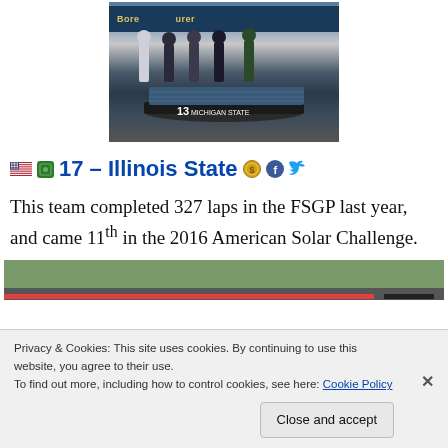[Figure (photo): Photo of a solar car with number 13 labeled Michigan State with team members standing behind it at an event. A dark blue banner is visible at the top of the display.]
17 – Illinois State
This team completed 327 laps in the FSGP last year, and came 11th in the 2016 American Solar Challenge.
[Figure (photo): Partial photo of outdoor scene, partially obscured by cookie consent banner.]
Privacy & Cookies: This site uses cookies. By continuing to use this website, you agree to their use.
To find out more, including how to control cookies, see here: Cookie Policy